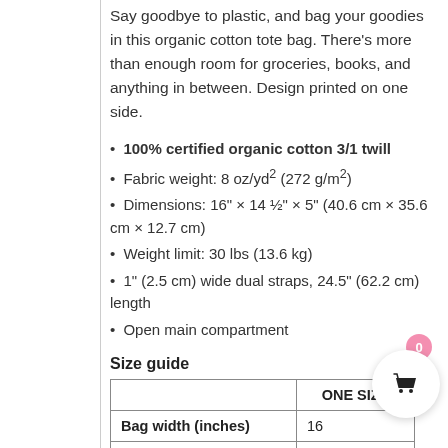Say goodbye to plastic, and bag your goodies in this organic cotton tote bag. There's more than enough room for groceries, books, and anything in between. Design printed on one side.
100% certified organic cotton 3/1 twill
Fabric weight: 8 oz/yd² (272 g/m²)
Dimensions: 16" × 14 ½" × 5" (40.6 cm × 35.6 cm × 12.7 cm)
Weight limit: 30 lbs (13.6 kg)
1" (2.5 cm) wide dual straps, 24.5" (62.2 cm) length
Open main compartment
Size guide
|  | ONE SIZE |
| --- | --- |
| Bag width (inches) | 16 |
| Bag height (inches) | 14 ½ |